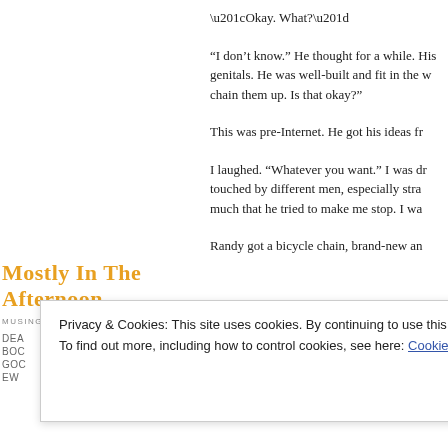“Okay. What?”
“I don’t know.” He thought for a while. His genitals. He was well-built and fit in the w chain them up. Is that okay?”
This was pre-Internet. He got his ideas fr
I laughed. “Whatever you want.” I was dr touched by different men, especially stra much that he tried to make me stop. I wa
Mostly in the Afternoon
MUSINGS ON FOOD, BOOKS, LOVE,
Randy got a bicycle chain, brand-new an
Privacy & Cookies: This site uses cookies. By continuing to use this website, you agree to their use.
To find out more, including how to control cookies, see here: Cookie Policy
Close and accept